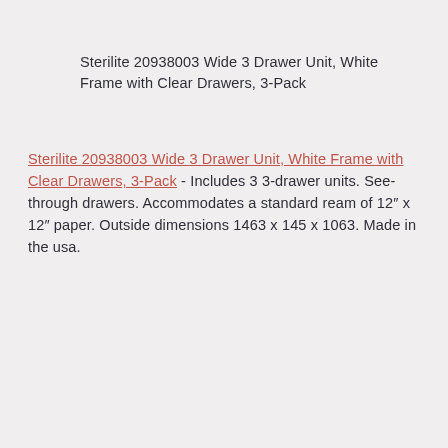Sterilite 20938003 Wide 3 Drawer Unit, White Frame with Clear Drawers, 3-Pack
Sterilite 20938003 Wide 3 Drawer Unit, White Frame with Clear Drawers, 3-Pack - Includes 3 3-drawer units. See-through drawers. Accommodates a standard ream of 12″ x 12″ paper. Outside dimensions 1463 x 145 x 1063. Made in the usa.